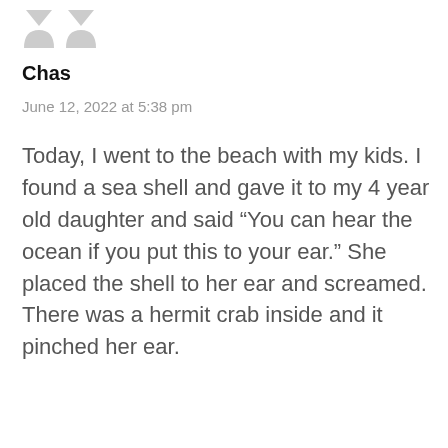[Figure (illustration): Two gray avatar/profile icon shapes side by side at the top of the post]
Chas
June 12, 2022 at 5:38 pm
Today, I went to the beach with my kids. I found a sea shell and gave it to my 4 year old daughter and said “You can hear the ocean if you put this to your ear.” She placed the shell to her ear and screamed.
There was a hermit crab inside and it pinched her ear.